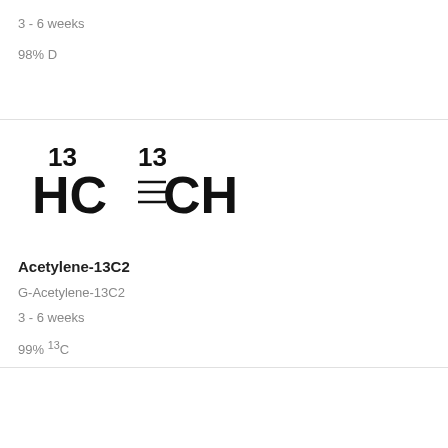3 - 6 weeks
98% D
[Figure (illustration): Structural formula of Acetylene-13C2: HC≡CH with superscript 13 above each carbon]
Acetylene-13C2
G-Acetylene-13C2
3 - 6 weeks
99% 13C